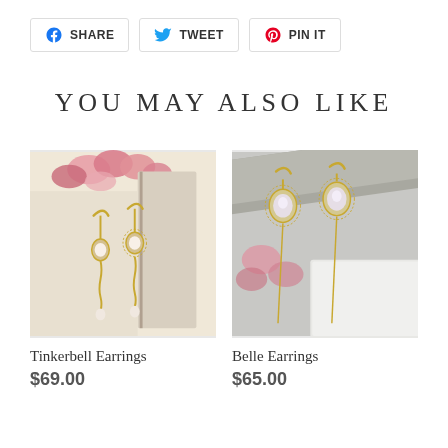[Figure (screenshot): Social share buttons row: Facebook SHARE, Twitter TWEET, Pinterest PIN IT]
YOU MAY ALSO LIKE
[Figure (photo): Photo of Tinkerbell Earrings — gold drop earrings with pearl and ornate gold chain detail, against a cream woven background with pink dried flowers]
Tinkerbell Earrings
$69.00
[Figure (photo): Photo of Belle Earrings — gold threader earrings with moonstone in ornate oval frame, hanging on a grey wooden rack with pink flowers in background]
Belle Earrings
$65.00